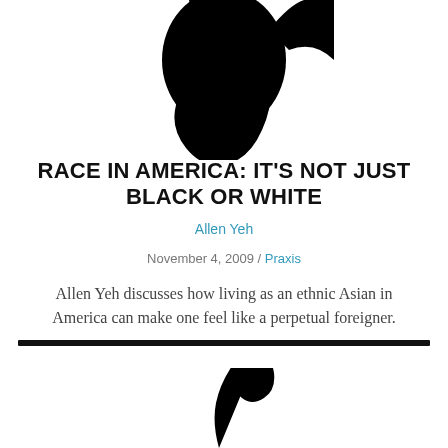[Figure (logo): Partial black logo/symbol visible at top of page, cropped]
RACE IN AMERICA: IT'S NOT JUST BLACK OR WHITE
Allen Yeh
November 4, 2009 / Praxis
Allen Yeh discusses how living as an ethnic Asian in America can make one feel like a perpetual foreigner.
[Figure (logo): Partial black logo/symbol visible at bottom of page, cropped]